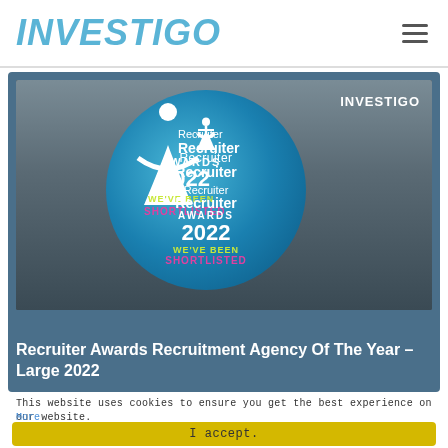INVESTIGO
[Figure (photo): Recruiter Awards 2022 shortlisted badge overlaid on a group photo of Investigo employees, with INVESTIGO watermark in top right. Badge shows 'Recruiter AWARDS 2022 WE'VE BEEN SHORTLISTED' on a blue circle.]
Recruiter Awards Recruitment Agency Of The Year – Large 2022
This website uses cookies to ensure you get the best experience on our website.
More
I accept.